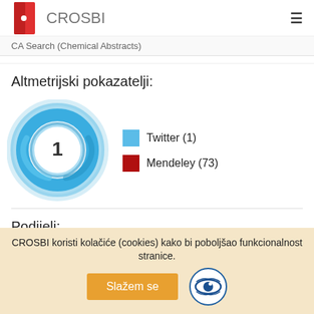CROSBI
CA Search (Chemical Abstracts)
Altmetrijski pokazatelji:
[Figure (donut-chart): Altmetric donut chart showing score of 1, with Twitter (1) and Mendeley (73) as sources]
Podijeli:
CROSBI koristi kolačiće (cookies) kako bi poboljšao funkcionalnost stranice.